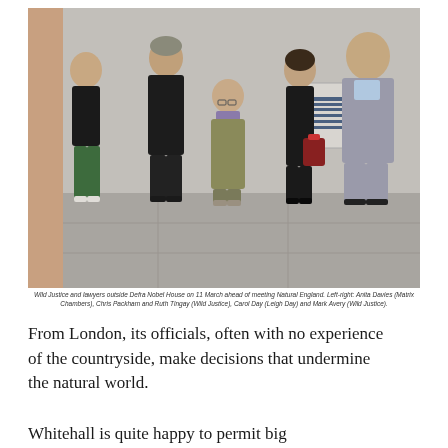[Figure (photo): Wild Justice and lawyers outside Defra Nobel House on 11 March ahead of meeting Natural England. Five people standing outside a building with a Department for Environment Food & Rural Affairs sign visible. Left-right: Anita Davies (Matrix Chambers), Chris Packham and Ruth Tingay (Wild Justice), Carol Day (Leigh Day) and Mark Avery (Wild Justice).]
Wild Justice and lawyers outside Defra Nobel House on 11 March ahead of meeting Natural England. Left-right: Anita Davies (Matrix Chambers), Chris Packham and Ruth Tingay (Wild Justice), Carol Day (Leigh Day) and Mark Avery (Wild Justice).
From London, its officials, often with no experience of the countryside, make decisions that undermine the natural world.
Whitehall is quite happy to permit big